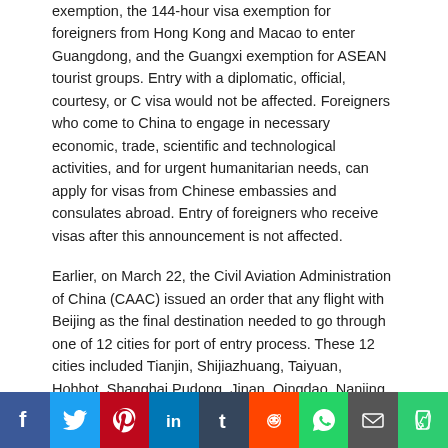exemption, the 144-hour visa exemption for foreigners from Hong Kong and Macao to enter Guangdong, and the Guangxi exemption for ASEAN tourist groups. Entry with a diplomatic, official, courtesy, or C visa would not be affected. Foreigners who come to China to engage in necessary economic, trade, scientific and technological activities, and for urgent humanitarian needs, can apply for visas from Chinese embassies and consulates abroad. Entry of foreigners who receive visas after this announcement is not affected.
Earlier, on March 22, the Civil Aviation Administration of China (CAAC) issued an order that any flight with Beijing as the final destination needed to go through one of 12 cities for port of entry process. These 12 cities included Tianjin, Shijiazhuang, Taiyuan, Hohhot, Shanghai Pudong, Jinan, Qingdao, Nanjing, Shenyang, Dalian, Zhengzhou, and Xi'an. Travelers who passed the coronavirus prevention test could continue to fly to Beijing.
Hong Kong International Airport reported that, per Beijing's request, the airport will not provide land or water transportation to mainland China.
1. Excerpt in Chinese:
Social sharing bar: Facebook, Twitter, Pinterest, LinkedIn, Tumblr, Reddit, WhatsApp, Email, Phone